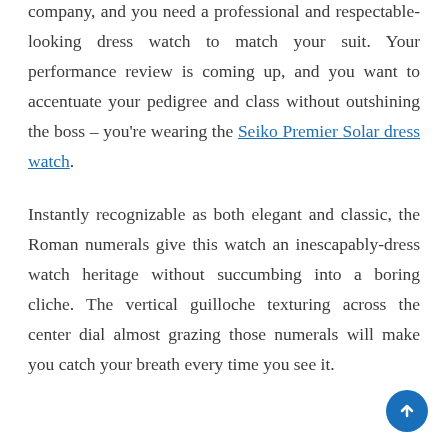company, and you need a professional and respectable-looking dress watch to match your suit. Your performance review is coming up, and you want to accentuate your pedigree and class without outshining the boss – you're wearing the Seiko Premier Solar dress watch.
Instantly recognizable as both elegant and classic, the Roman numerals give this watch an inescapably-dress watch heritage without succumbing into a boring cliche. The vertical guilloche texturing across the center dial almost grazing those numerals will make you catch your breath every time you see it.